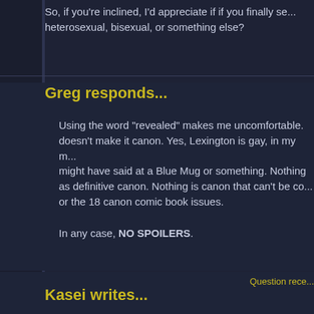So, if you're inclined, I'd appreciate if if you finally se... heterosexual, bisexual, or something else?
Greg responds...
Using the word "revealed" makes me uncomfortable. doesn't make it canon. Yes, Lexington is gay, in my m... might have said at a Blue Mug or something. Nothing as definitive canon. Nothing is canon that can't be co... or the 18 canon comic book issues.
In any case, NO SPOILERS.
Question rece...
Kasei writes...
Hey there Greg! It's been a long time since I asked a... that you still keep up this site. :) I love how you intera... love you....well, that and your stories are awesome!
1)I was wondering if it will ever be time to answer...